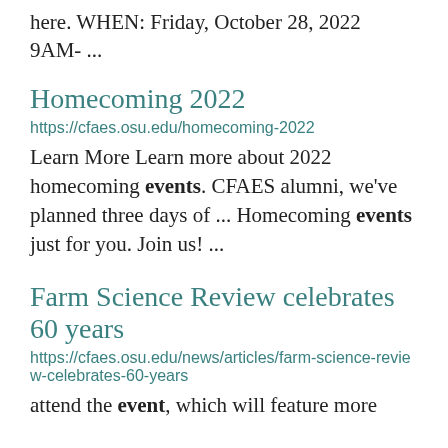here. WHEN: Friday, October 28, 2022 9AM- ...
Homecoming 2022
https://cfaes.osu.edu/homecoming-2022
Learn More Learn more about 2022 homecoming events. CFAES alumni, we've planned three days of ... Homecoming events just for you. Join us! ...
Farm Science Review celebrates 60 years
https://cfaes.osu.edu/news/articles/farm-science-review-celebrates-60-years
attend the event, which will feature more